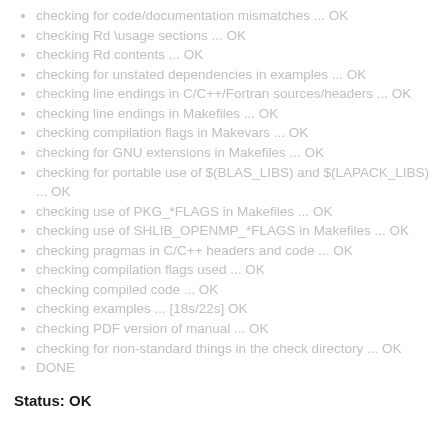checking for code/documentation mismatches ... OK
checking Rd \usage sections ... OK
checking Rd contents ... OK
checking for unstated dependencies in examples ... OK
checking line endings in C/C++/Fortran sources/headers ... OK
checking line endings in Makefiles ... OK
checking compilation flags in Makevars ... OK
checking for GNU extensions in Makefiles ... OK
checking for portable use of $(BLAS_LIBS) and $(LAPACK_LIBS) ... OK
checking use of PKG_*FLAGS in Makefiles ... OK
checking use of SHLIB_OPENMP_*FLAGS in Makefiles ... OK
checking pragmas in C/C++ headers and code ... OK
checking compilation flags used ... OK
checking compiled code ... OK
checking examples ... [18s/22s] OK
checking PDF version of manual ... OK
checking for non-standard things in the check directory ... OK
DONE
Status: OK